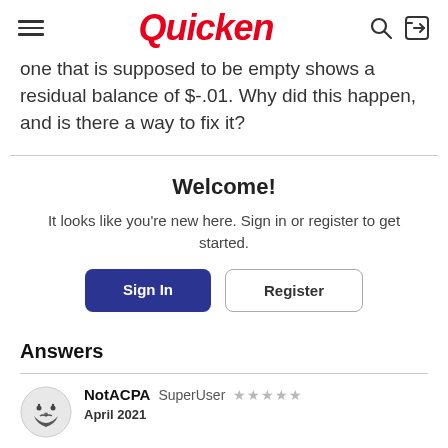Quicken
one that is supposed to be empty shows a residual balance of $-.01. Why did this happen, and is there a way to fix it?
Welcome!
It looks like you're new here. Sign in or register to get started.
Sign In  Register
Answers
NotACPA  SuperUser  ★★★★★  April 2021